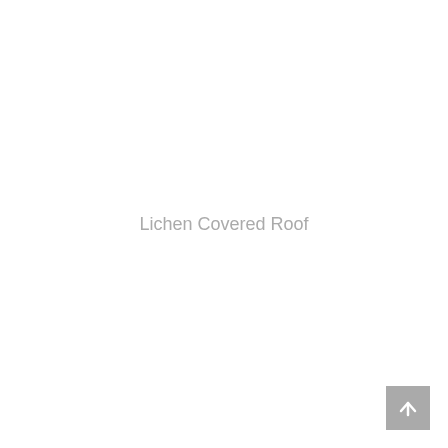Lichen Covered Roof
[Figure (other): Scroll-to-top button with upward arrow icon, gray background, bottom-right corner]